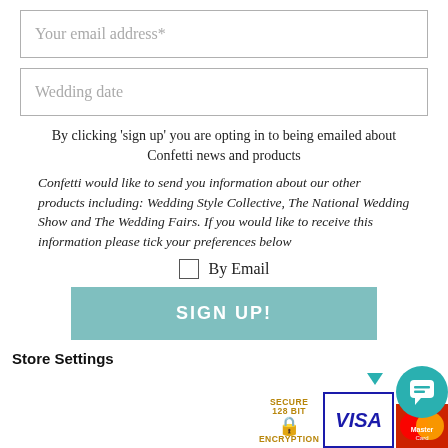Your email address*
Wedding date
By clicking 'sign up' you are opting in to being emailed about Confetti news and products
Confetti would like to send you information about our other products including: Wedding Style Collective, The National Wedding Show and The Wedding Fairs. If you would like to receive this information please tick your preferences below
By Email
SIGN UP!
Store Settings
[Figure (screenshot): Payment badges: Secure 128 Bit Encryption lock icon, VISA card logo, Mastercard logo, and a teal chat bubble icon with an arrow pointing down]